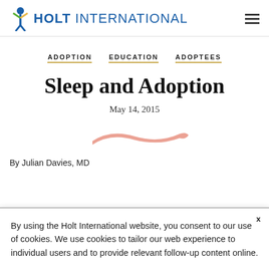HOLT INTERNATIONAL
ADOPTION   EDUCATION   ADOPTEES
Sleep and Adoption
May 14, 2015
[Figure (illustration): A salmon/pink brushstroke decorative element used as author image or divider]
By Julian Davies, MD
By using the Holt International website, you consent to our use of cookies. We use cookies to tailor our web experience to individual users and to provide relevant follow-up content online.